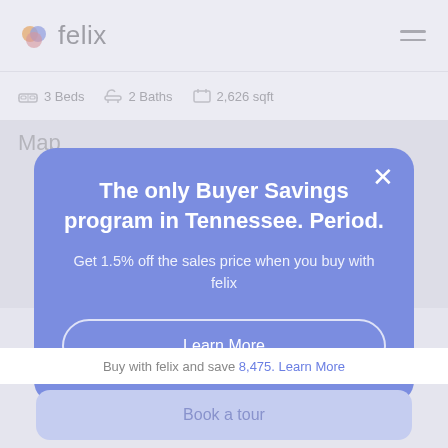felix
3 Beds  2 Baths  2,626 sqft
Map
The only Buyer Savings program in Tennessee. Period.
Get 1.5% off the sales price when you buy with felix
Learn More
Buy with felix and save 8,475. Learn More
Book a tour